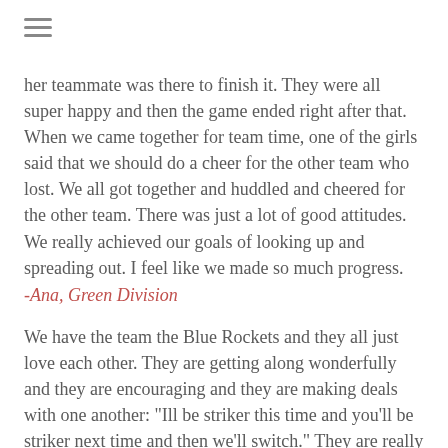[Figure (other): Hamburger menu icon (three horizontal lines)]
her teammate was there to finish it.  They were all super happy and then the game ended right after that.  When we came together for team time, one of the girls said that we should do a cheer for the other team who lost.  We all got together and huddled and cheered for the other team.  There was just a lot of good attitudes.  We really achieved our goals of looking up and spreading out.  I feel like we made so much progress.
-Ana, Green Division
We have the team the Blue Rockets and they all just love each other.  They are getting along wonderfully and they are encouraging and they are making deals with one another: "Ill be striker this time and you'll be striker next time and then we'll switch."  They are really excited to do Team Time.  All in all, really good things are happening in the blue division.